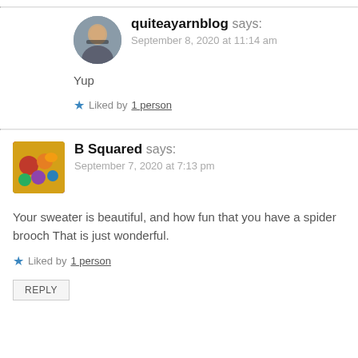quiteayarnblog says: September 8, 2020 at 11:14 am
Yup
Liked by 1 person
B Squared says: September 7, 2020 at 7:13 pm
Your sweater is beautiful, and how fun that you have a spider brooch That is just wonderful.
Liked by 1 person